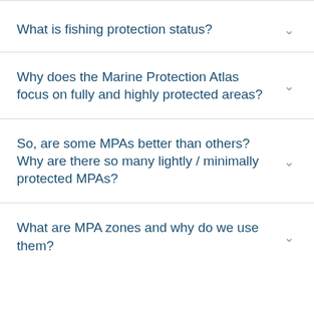What is fishing protection status?
Why does the Marine Protection Atlas focus on fully and highly protected areas?
So, are some MPAs better than others? Why are there so many lightly / minimally protected MPAs?
What are MPA zones and why do we use them?